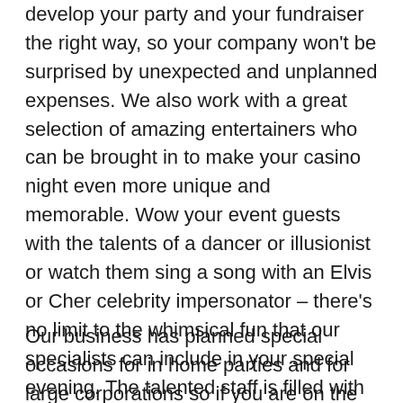develop your party and your fundraiser the right way, so your company won't be surprised by unexpected and unplanned expenses. We also work with a great selection of amazing entertainers who can be brought in to make your casino night even more unique and memorable. Wow your event guests with the talents of a dancer or illusionist or watch them sing a song with an Elvis or Cher celebrity impersonator – there's no limit to the whimsical fun that our specialists can include in your special evening. The talented staff is filled with specialized casino planning professionals, on-site poker dealers and hostesses, DJ's, etc. and together they will organize the best casino event that your attendees will remember for months .
Our business has planned special occasions for in home parties and for large corporations so if you are on the hunt for the most experienced casino party